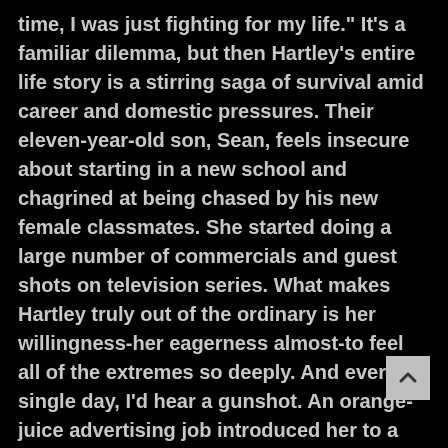time, I was just fighting for my life." It's a familiar dilemma, but then Hartley's entire life story is a stirring saga of survival amid career and domestic pressures. Their eleven-year-old son, Sean, feels insecure about starting in a new school and chagrined at being chased by his new female classmates. She started doing a large number of commercials and guest shots on television series. What makes Hartley truly out of the ordinary is her willingness-her eagerness almost-to feel all of the extremes so deeply. And every single day, I'd hear a gunshot. An orange-juice advertising job introduced her to a French producer-director named Patrick Boyriven. '"', Hartley slaps one hand over her face and laughs. "Rather than being chaotic like it used to be, it becomes a clear grief. See the article in its original text from. I'd found the school for Sean and Justine, I'd found a house for all of us, I was getting ready for my new job.